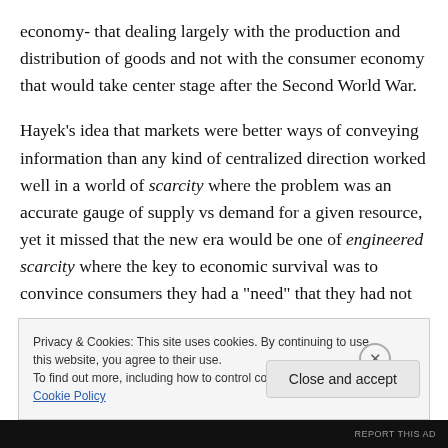economy- that dealing largely with the production and distribution of goods and not with the consumer economy that would take center stage after the Second World War.
Hayek’s idea that markets were better ways of conveying information than any kind of centralized direction worked well in a world of scarcity where the problem was an accurate gauge of supply vs demand for a given resource, yet it missed that the new era would be one of engineered scarcity where the key to economic survival was to convince consumers they had a “need” that they had not
Privacy & Cookies: This site uses cookies. By continuing to use this website, you agree to their use.
To find out more, including how to control cookies, see here: Cookie Policy
Close and accept
REPORT THIS AD